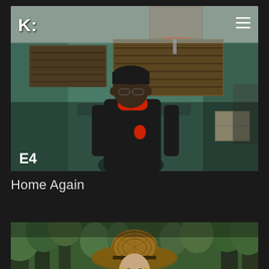[Figure (screenshot): Screenshot of a streaming app interface showing a man in a black Jordan jacket and red turtleneck standing in front of a teal building with a basketball hoop. Episode label E4 is visible in the bottom left. A logo 'K:' appears top left with a hamburger menu top right.]
Home Again
[Figure (photo): Partial image of a woman wearing a woven Indigenous-style wide-brim hat standing in a forest setting with green trees in background.]